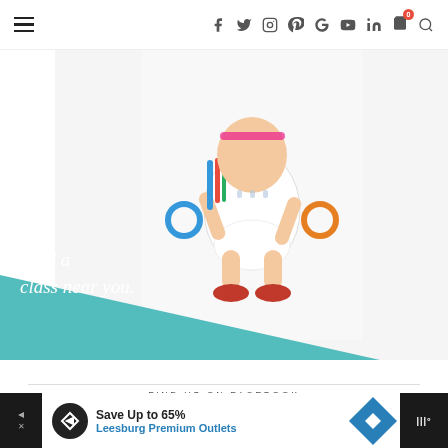Navigation bar with hamburger menu, social icons (f, Twitter, Instagram, Pinterest, G+, YouTube, LinkedIn), cart with 0 badge, and search icon
[Figure (photo): Baby/toddler sitting on white background wearing white outfit and red shoes, holding colorful toys. Teal triangle banner overlay reads 'Find a class near you.']
FIND US ON FACEBOOK
[Figure (infographic): Advertisement banner: Save Up to 65% Leesburg Premium Outlets, with logo icon and navigation arrow icon]